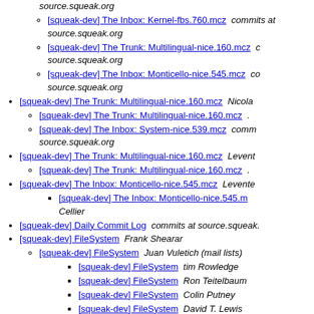source.squeak.org
[squeak-dev] The Inbox: Kernel-fbs.760.mcz  commits at source.squeak.org
[squeak-dev] The Trunk: Multilingual-nice.160.mcz   source.squeak.org
[squeak-dev] The Inbox: Monticello-nice.545.mcz  commits at source.squeak.org
[squeak-dev] The Trunk: Multilingual-nice.160.mcz  Nicolas
[squeak-dev] The Trunk: Multilingual-nice.160.mcz
[squeak-dev] The Inbox: System-nice.539.mcz  commits at source.squeak.org
[squeak-dev] The Trunk: Multilingual-nice.160.mcz  Levente
[squeak-dev] The Trunk: Multilingual-nice.160.mcz
[squeak-dev] The Inbox: Monticello-nice.545.mcz  Levente
[squeak-dev] The Inbox: Monticello-nice.545.m... Cellier
[squeak-dev] Daily Commit Log  commits at source.squeak...
[squeak-dev] FileSystem  Frank Shearar
[squeak-dev] FileSystem  Juan Vuletich (mail lists)
[squeak-dev] FileSystem  tim Rowledge
[squeak-dev] FileSystem  Ron Teitelbaum
[squeak-dev] FileSystem  Colin Putney
[squeak-dev] FileSystem  David T. Lewis
[squeak-dev] FileSystem  Colin Putney
[squeak-dev] FileSystem  Casey Ransber...